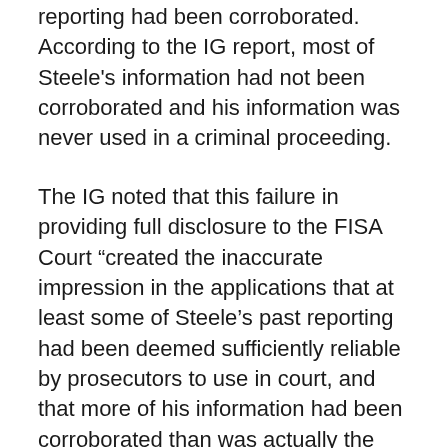reporting had been corroborated. According to the IG report, most of Steele's information had not been corroborated and his information was never used in a criminal proceeding.
The IG noted that this failure in providing full disclosure to the FISA Court “created the inaccurate impression in the applications that at least some of Steele’s past reporting had been deemed sufficiently reliable by prosecutors to use in court, and that more of his information had been corroborated than was actually the case.”
The IG also noted that, despite being unverified, information from the Steele dossier was used “in an interagency assessment of Russian interference in